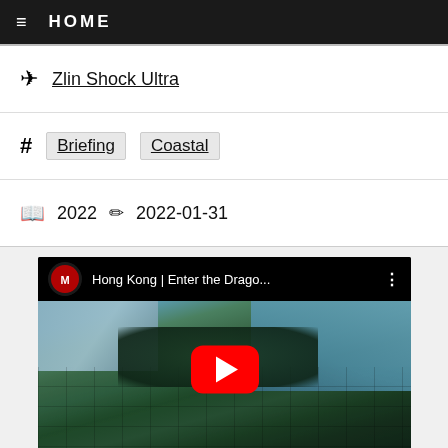HOME
✈ Zlin Shock Ultra
# Briefing  Coastal
📖 2022  ✏ 2022-01-31
[Figure (screenshot): YouTube video thumbnail showing aerial view of Hong Kong with title 'Hong Kong | Enter the Drago...' and a red play button overlay]